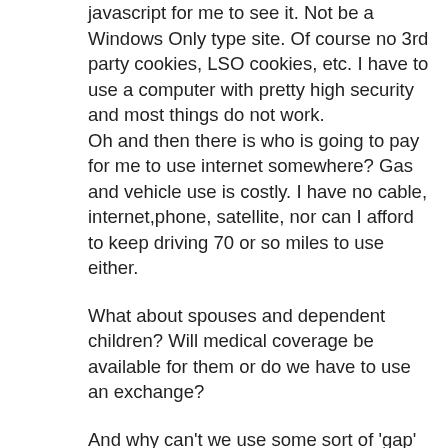javascript for me to see it. Not be a Windows Only type site. Of course no 3rd party cookies, LSO cookies, etc. I have to use a computer with pretty high security and most things do not work.
Oh and then there is who is going to pay for me to use internet somewhere? Gas and vehicle use is costly. I have no cable, internet,phone, satellite, nor can I afford to keep driving 70 or so miles to use either.
What about spouses and dependent children? Will medical coverage be available for them or do we have to use an exchange?
And why can't we use some sort of 'gap' insurance to help? New plan can be supplemented into a cadillac plan with gap insurance, right?
Maybe you can offer gap insurance?
Another problem is that the MANDATORY phone calls to get the needed insurance.
I haven't had a phone in years and cannot afford one (and really do not want one).
I used to get SPAM calls and such from Humana. No